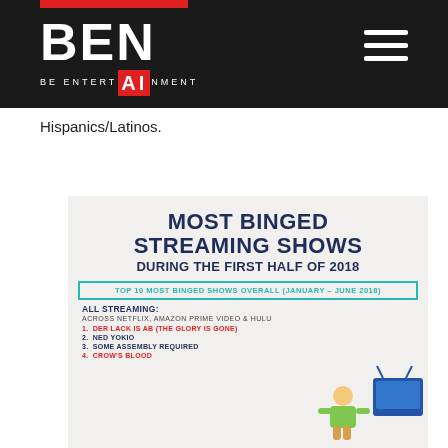BEN - BE ENTERTAINMENT
Hispanics/Latinos.
[Figure (infographic): Infographic titled 'Most Binged Streaming Shows During the First Half of 2018'. Shows Top 10 Most Binged Shows Overall (January - June 2018). All Streaming: Across Netflix, Amazon Prime Video & Hulu. List items: 1. Der Lack Is Ab (The Glory Is Gone), 2. Ned Yokio, 3. Some Assembly Required, 4. Crow's Blood]